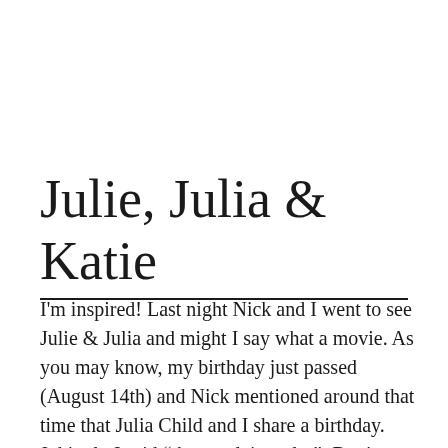Julie, Julia & Katie
I'm inspired! Last night Nick and I went to see Julie & Julia and might I say what a movie. As you may know, my birthday just passed (August 14th) and Nick mentioned around that time that Julia Child and I share a birthday. Jokingly I said “that explains a lot”. But it really does. […]